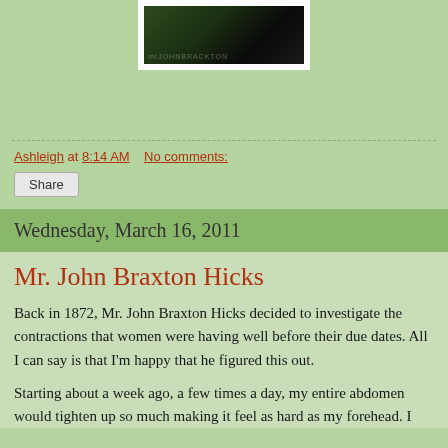[Figure (photo): A dark photo with faint text overlay, shown inside a white-bordered frame, on a green background.]
Ashleigh at 8:14 AM    No comments:
Share
Wednesday, March 16, 2011
Mr. John Braxton Hicks
Back in 1872, Mr. John Braxton Hicks decided to investigate the contractions that women were having well before their due dates. All I can say is that I'm happy that he figured this out.
Starting about a week ago, a few times a day, my entire abdomen would tighten up so much making it feel as hard as my forehead. I